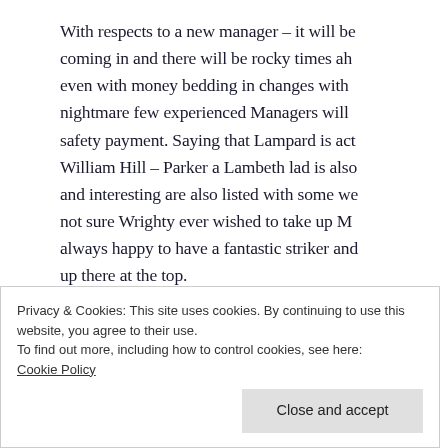With respects to a new manager – it will be coming in and there will be rocky times ah even with money bedding in changes with nightmare few experienced Managers will safety payment. Saying that Lampard is act William Hill – Parker a Lambeth lad is also and interesting are also listed with some we not sure Wrighty ever wished to take up M always happy to have a fantastic striker and up there at the top.
Still I am sure Parrish has at least a 3 stage
Privacy & Cookies: This site uses cookies. By continuing to use this website, you agree to their use.
To find out more, including how to control cookies, see here:
Cookie Policy
Close and accept